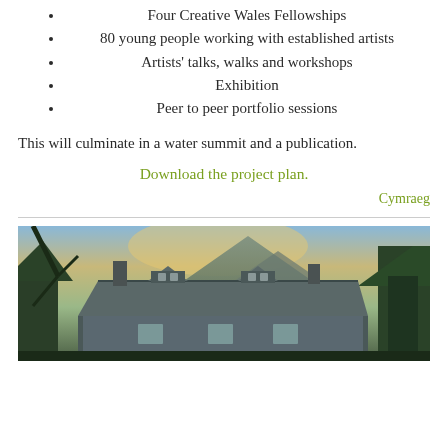Four Creative Wales Fellowships
80 young people working with established artists
Artists' talks, walks and workshops
Exhibition
Peer to peer portfolio sessions
This will culminate in a water summit and a publication.
Download the project plan.
Cymraeg
[Figure (photo): Photograph of a stone building with a thatched or slate roof with dormer windows, set against a mountainous landscape with trees and a dramatic sky at dusk or dawn.]